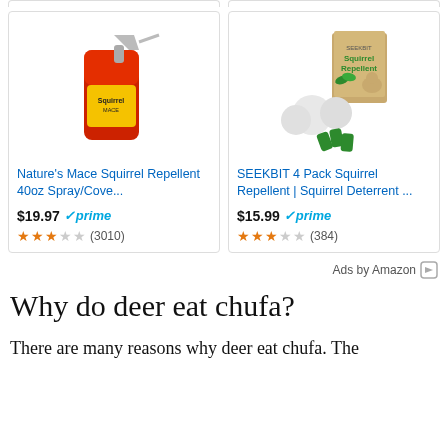[Figure (screenshot): Amazon ad for Nature's Mace Squirrel Repellent 40oz Spray, price $19.97, Prime, 3010 reviews, 2.5 stars]
[Figure (screenshot): Amazon ad for SEEKBIT 4 Pack Squirrel Repellent | Squirrel Deterrent, price $15.99, Prime, 384 reviews, 3 stars]
Ads by Amazon
Why do deer eat chufa?
There are many reasons why deer eat chufa. The